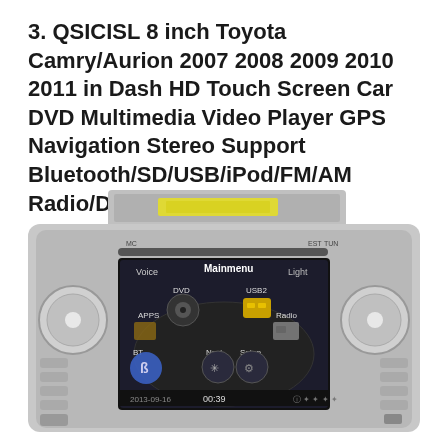3. QSICISL 8 inch Toyota Camry/Aurion 2007 2008 2009 2010 2011 in Dash HD Touch Screen Car DVD Multimedia Video Player GPS Navigation Stereo Support Bluetooth/SD/USB/iPod/FM/AM Radio/DVR/3G/AV-IN/1080P
[Figure (photo): QSICISL 8 inch in-dash car DVD multimedia player for Toyota Camry/Aurion showing the silver head unit with touchscreen displaying the main menu with icons for DVD, USB2, APPS, BT, Navi, Setup, Radio. The device has control knobs on both sides, CD/DVD slot, and shows time 00:39 at bottom.]